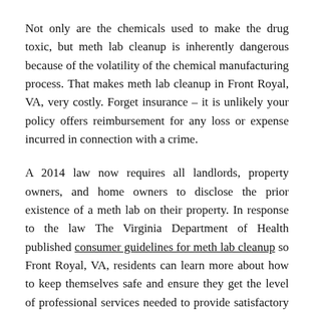Not only are the chemicals used to make the drug toxic, but meth lab cleanup is inherently dangerous because of the volatility of the chemical manufacturing process. That makes meth lab cleanup in Front Royal, VA, very costly. Forget insurance – it is unlikely your policy offers reimbursement for any loss or expense incurred in connection with a crime.
A 2014 law now requires all landlords, property owners, and home owners to disclose the prior existence of a meth lab on their property. In response to the law The Virginia Department of Health published consumer guidelines for meth lab cleanup so Front Royal, VA, residents can learn more about how to keep themselves safe and ensure they get the level of professional services needed to provide satisfactory meth lab cleanup in Front